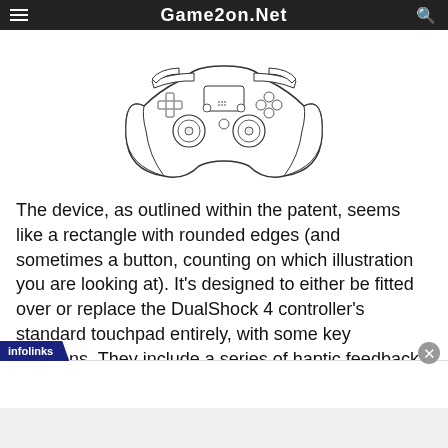Game2on.Net
[Figure (illustration): Line drawing of a DualShock 4 PlayStation controller, viewed from above, showing buttons, analog sticks, triggers, and touchpad]
The device, as outlined within the patent, seems like a rectangle with rounded edges (and sometimes a button, counting on which illustration you are looking at). It’s designed to either be fitted over or replace the DualShock 4 controller’s standard touchpad entirely, with some key additions. They include a series of haptic feedback mechanisms, like